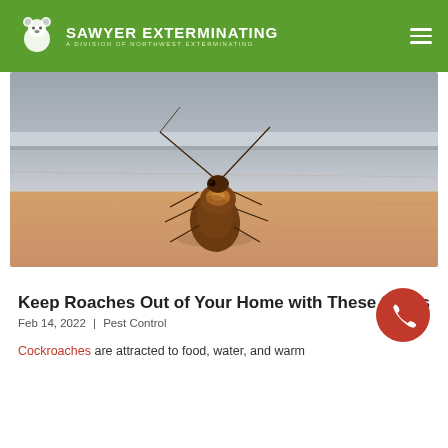SAWYER EXTERMINATING | A DIVISION OF NORTHWEST EXTERMINATING
[Figure (photo): Close-up macro photo of a cockroach on a wooden surface near the base of a metal fixture, with antennae visible.]
Keep Roaches Out of Your Home with These 3 Tips
Feb 14, 2022 | Pest Control
Cockroaches are attracted to food, water, and warm